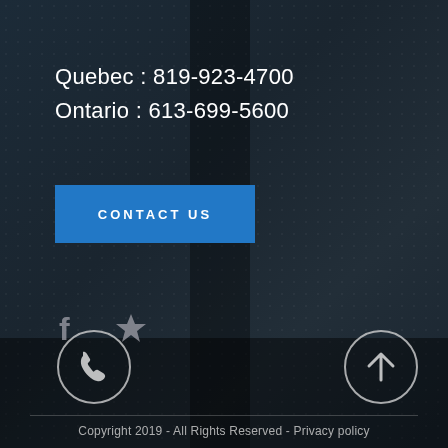Quebec : 819-923-4700
Ontario : 613-699-5600
CONTACT US
[Figure (illustration): Social media icons: Facebook 'f' icon and a star/bookmark icon, both in grey]
[Figure (illustration): Two circular icon buttons: left has a phone handset icon, right has an upward arrow icon]
Copyright 2019 - All Rights Reserved - Privacy policy